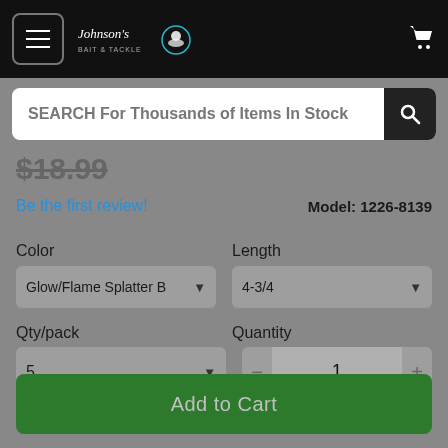[Figure (screenshot): Navigation bar with hamburger menu, Johnson's Bait & Tackle logo, and cart icon on black background]
SEARCH For Thousands of Items In Stock
$18.99
Be the first review!
Model: 1226-8139
Color
Glow/Flame Splatter B
Length
4-3/4
Qty/pack
5
Quantity
1
Stock: 5+
Add to Cart